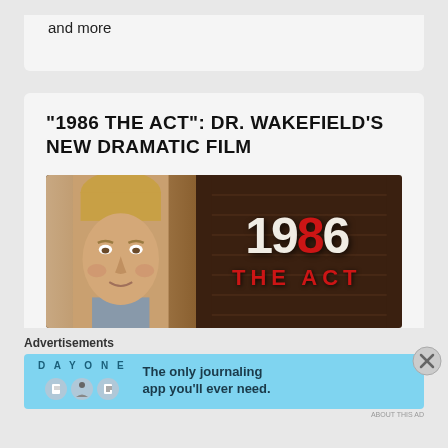and more
"1986 THE ACT": DR. WAKEFIELD'S NEW DRAMATIC FILM
[Figure (photo): Film promotional image showing a man's face on left and the text '1986 THE ACT' on a dark brick background with red dripping lettering]
Advertisements
[Figure (infographic): Day One journaling app advertisement banner with blue background, app icons, and text 'The only journaling app you'll ever need.']